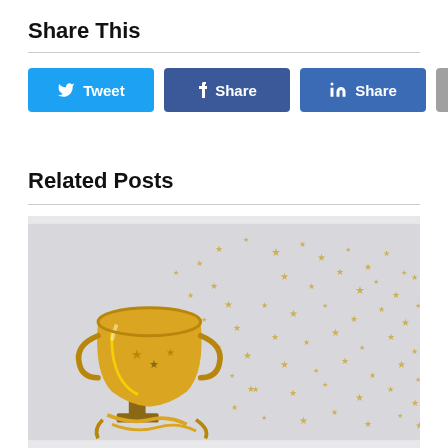Share This
[Figure (screenshot): Social sharing buttons: Tweet (Twitter, blue), Share (Facebook, dark blue), Share (LinkedIn, blue), Email (gray)]
Related Posts
[Figure (photo): Gold trophy cup with gold star confetti scattered around it on a light gray background, with gold ribbons at the base]